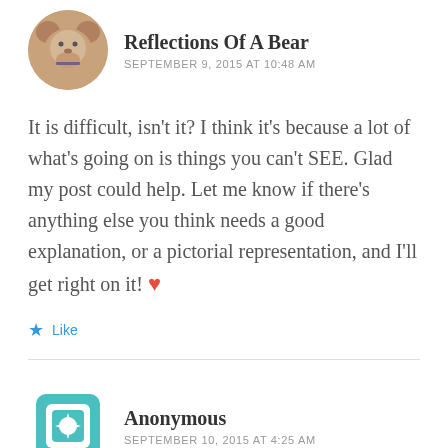Reflections Of A Bear
SEPTEMBER 9, 2015 AT 10:48 AM
It is difficult, isn't it? I think it's because a lot of what's going on is things you can't SEE. Glad my post could help. Let me know if there's anything else you think needs a good explanation, or a pictorial representation, and I'll get right on it! ❤
Like
Anonymous
SEPTEMBER 10, 2015 AT 4:25 AM